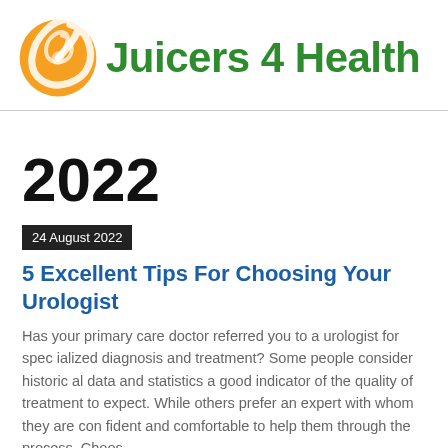[Figure (logo): Juicers 4 Health logo: orange spiral swirl icon on the left, green bold text 'Juicers 4 Health' on the right]
2022
24 August 2022
5 Excellent Tips For Choosing Your Urologist
Has your primary care doctor referred you to a urologist for specialized diagnosis and treatment? Some people consider historical data and statistics a good indicator of the quality of treatment to expect. While others prefer an expert with whom they are confident and comfortable to help them through the process. Choos